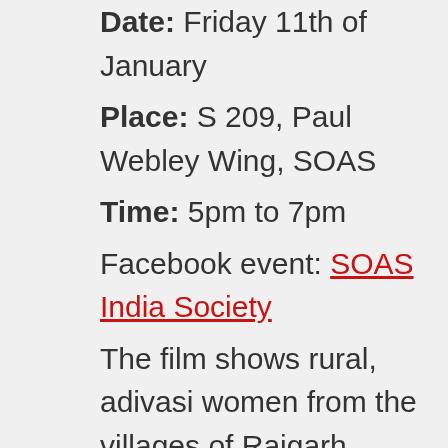Date: Friday 11th of January
Place: S 209, Paul Webley Wing, SOAS
Time: 5pm to 7pm
Facebook event: SOAS India Society
The film shows rural, adivasi women from the villages of Raigarh, Chhattisgarh critiquing